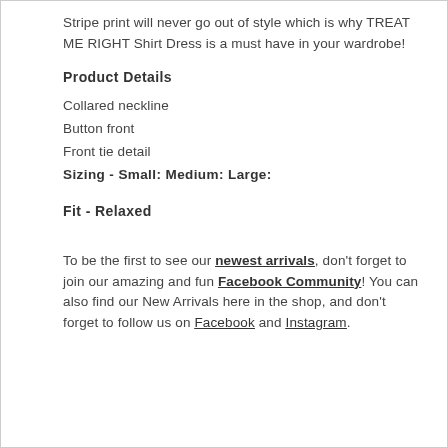Stripe print will never go out of style which is why TREAT ME RIGHT Shirt Dress is a must have in your wardrobe!
Product Details
Collared neckline
Button front
Front tie detail
Sizing - Small: Medium: Large:
Fit - Relaxed
To be the first to see our newest arrivals, don't forget to join our amazing and fun Facebook Community! You can also find our New Arrivals here in the shop, and don't forget to follow us on Facebook and Instagram.